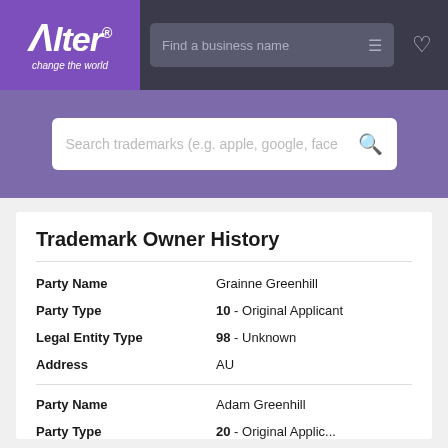[Figure (screenshot): Alter website header with logo, navigation search bar for business names, and filter/heart icons on dark background]
[Figure (screenshot): Purple hero search bar with placeholder text 'Search trademarks (e.g. apple, google, face' and search icon]
Trademark Owner History
| Field | Value |
| --- | --- |
| Party Name | Grainne Greenhill |
| Party Type | 10 - Original Applicant |
| Legal Entity Type | 98 - Unknown |
| Address | AU |
| Field | Value |
| --- | --- |
| Party Name | Adam Greenhill |
| Party Type | 20 - Original Applicant |